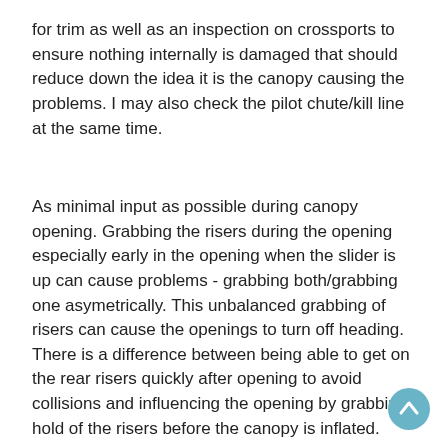for trim as well as an inspection on crossports to ensure nothing internally is damaged that should reduce down the idea it is the canopy causing the problems. I may also check the pilot chute/kill line at the same time.
As minimal input as possible during canopy opening. Grabbing the risers during the opening especially early in the opening when the slider is up can cause problems - grabbing both/grabbing one asymetrically. This unbalanced grabbing of risers can cause the openings to turn off heading. There is a difference between being able to get on the rear risers quickly after opening to avoid collisions and influencing the opening by grabbing hold of the risers before the canopy is inflated.